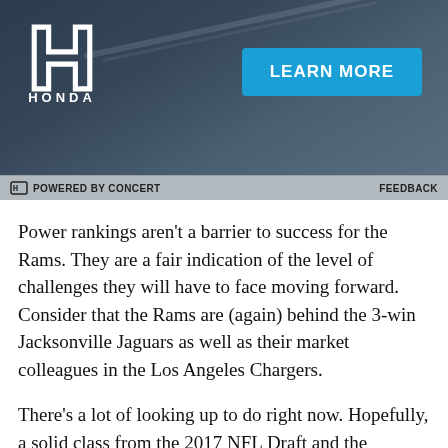[Figure (other): Honda advertisement banner with dark blue-grey gradient background, Honda 'H' logo and HONDA text on the left, and a blue 'LEARN MORE' button on the right]
POWERED BY CONCERT   FEEDBACK
Power rankings aren't a barrier to success for the Rams. They are a fair indication of the level of challenges they will have to face moving forward. Consider that the Rams are (again) behind the 3-win Jacksonville Jaguars as well as their market colleagues in the Los Angeles Chargers.
There's a lot of looking up to do right now. Hopefully, a solid class from the 2017 NFL Draft and the anticipated oversight from new Head Coach Sean McVay will see the Rams in loftier status in power rankings moving forward.